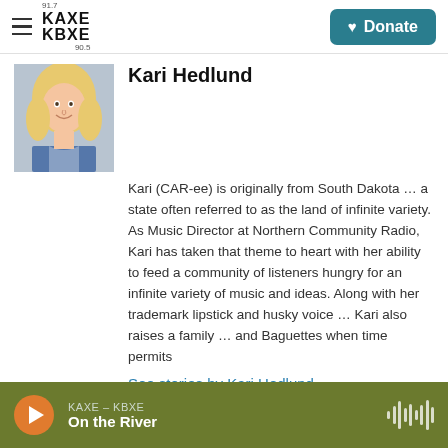KAXE 91.7 KBXE 90.5 | Donate
Kari Hedlund
[Figure (photo): Childhood photo of Kari Hedlund, a young blonde girl smiling, wearing a denim vest]
Kari (CAR-ee) is originally from South Dakota … a state often referred to as the land of infinite variety. As Music Director at Northern Community Radio, Kari has taken that theme to heart with her ability to feed a community of listeners hungry for an infinite variety of music and ideas. Along with her trademark lipstick and husky voice … Kari also raises a family … and Baguettes when time permits
See stories by Kari Hedlund
KAXE – KBXE | On the River